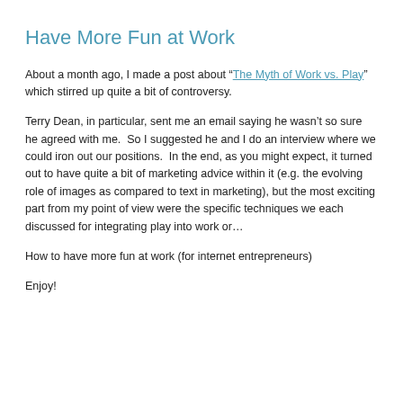Have More Fun at Work
About a month ago, I made a post about “The Myth of Work vs. Play” which stirred up quite a bit of controversy.
Terry Dean, in particular, sent me an email saying he wasn’t so sure he agreed with me.  So I suggested he and I do an interview where we could iron out our positions.  In the end, as you might expect, it turned out to have quite a bit of marketing advice within it (e.g. the evolving role of images as compared to text in marketing), but the most exciting part from my point of view were the specific techniques we each discussed for integrating play into work or...
How to have more fun at work (for internet entrepreneurs)
Enjoy!